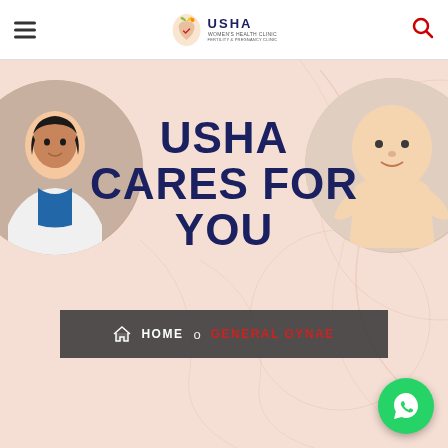USHA Health Clinic — navigation header with logo, hamburger menu, and search icon
USHA CARES FOR YOU
[Figure (screenshot): Hero section of Usha Health Clinic website with a female doctor in a circular frame on the left, a baby in a circular frame on the right, large heading 'USHA CARES FOR YOU' in the center, and a breadcrumb navigation bar showing HOME > GENERAL GYNAE on a peach/blush background with decorative swirl patterns]
HOME  o  GENERAL GYNAE